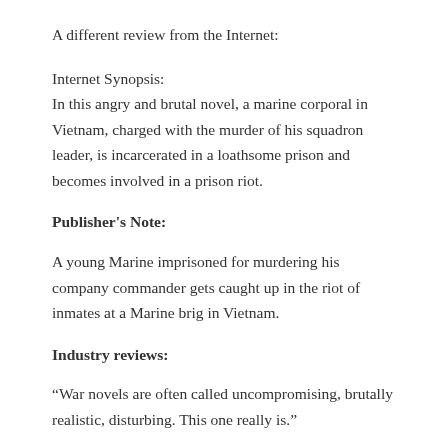A different review from the Internet:
Internet Synopsis:
In this angry and brutal novel, a marine corporal in Vietnam, charged with the murder of his squadron leader, is incarcerated in a loathsome prison and becomes involved in a prison riot.
Publisher's Note:
A young Marine imprisoned for murdering his company commander gets caught up in the riot of inmates at a Marine brig in Vietnam.
Industry reviews:
“War novels are often called uncompromising, brutally realistic, disturbing. This one really is.”